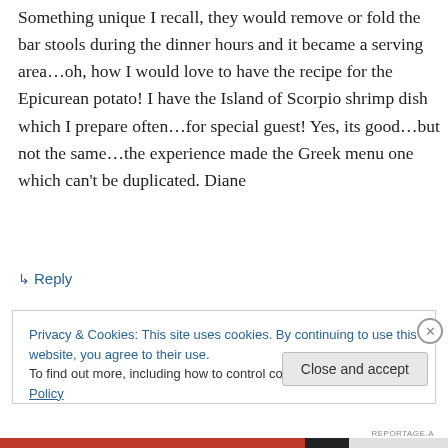Something unique I recall, they would remove or fold the bar stools during the dinner hours and it became a serving area…oh, how I would love to have the recipe for the Epicurean potato! I have the Island of Scorpio shrimp dish which I prepare often…for special guest! Yes, its good…but not the same…the experience made the Greek menu one which can’t be duplicated. Diane
↳ Reply
Privacy & Cookies: This site uses cookies. By continuing to use this website, you agree to their use.
To find out more, including how to control cookies, see here: Cookie Policy
Close and accept